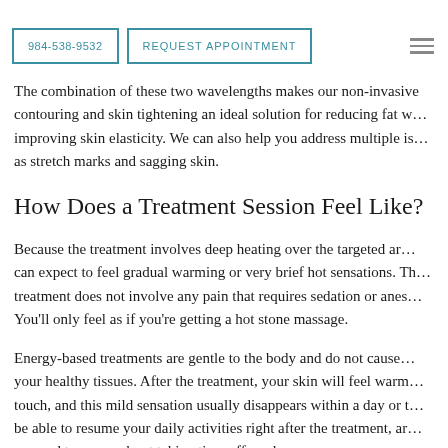984-538-9532  REQUEST APPOINTMENT
The combination of these two wavelengths makes our non-invasive contouring and skin tightening an ideal solution for reducing fat while improving skin elasticity. We can also help you address multiple issues such as stretch marks and sagging skin.
How Does a Treatment Session Feel Like?
Because the treatment involves deep heating over the targeted area, you can expect to feel gradual warming or very brief hot sensations. The treatment does not involve any pain that requires sedation or anesthesia. You'll only feel as if you're getting a hot stone massage.
Energy-based treatments are gentle to the body and do not cause harm to your healthy tissues. After the treatment, your skin will feel warm to the touch, and this mild sensation usually disappears within a day or two. You'll be able to resume your daily activities right after the treatment, and there's no need to worry about taking time off work.